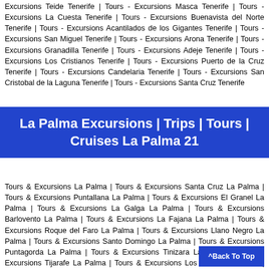Excursions Teide Tenerife | Tours - Excursions Masca Tenerife | Tours - Excursions La Cuesta Tenerife | Tours - Excursions Buenavista del Norte Tenerife | Tours - Excursions Acantilados de los Gigantes Tenerife | Tours - Excursions San Miguel Tenerife | Tours - Excursions Arona Tenerife | Tours - Excursions Granadilla Tenerife | Tours - Excursions Adeje Tenerife | Tours - Excursions Los Cristianos Tenerife | Tours - Excursions Puerto de la Cruz Tenerife | Tours - Excursions Candelaria Tenerife | Tours - Excursions San Cristobal de la Laguna Tenerife | Tours - Excursions Santa Cruz Tenerife
La Palma Excursions | Trips | Tours | Cruises La Palma 21
Tours & Excursions La Palma | Tours & Excursions Santa Cruz La Palma | Tours & Excursions Puntallana La Palma | Tours & Excursions El Granel La Palma | Tours & Excursions La Galga La Palma | Tours & Excursions Barlovento La Palma | Tours & Excursions La Fajana La Palma | Tours & Excursions Roque del Faro La Palma | Tours & Excursions Llano Negro La Palma | Tours & Excursions Santo Domingo La Palma | Tours & Excursions Puntagorda La Palma | Tours & Excursions Tinizara La Palma | Tours & Excursions Tijarafe La Palma | Tours & Excursions Los Llanos La Palma | Tours & Excursions Tazacorte La Palma | Tours & Excursions Puerto Naos La Palma | Tours & Excursions El Paso La Palma | Tours & Excursions Los Canarios La Palma | Tours & Excursions Las Indias La Palma | Tours & Excursions Tigalate La